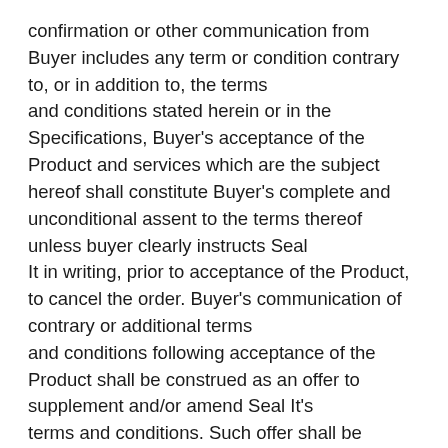confirmation or other communication from Buyer includes any term or condition contrary to, or in addition to, the terms and conditions stated herein or in the Specifications, Buyer's acceptance of the Product and services which are the subject hereof shall constitute Buyer's complete and unconditional assent to the terms thereof unless buyer clearly instructs Seal It in writing, prior to acceptance of the Product, to cancel the order. Buyer's communication of contrary or additional terms and conditions following acceptance of the Product shall be construed as an offer to supplement and/or amend Seal It's terms and conditions. Such offer shall be deemed rejected